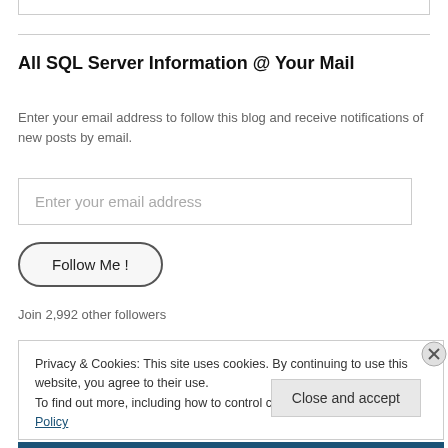All SQL Server Information @ Your Mail
Enter your email address to follow this blog and receive notifications of new posts by email.
Enter your email address
Follow Me !
Join 2,992 other followers
Privacy & Cookies: This site uses cookies. By continuing to use this website, you agree to their use.
To find out more, including how to control cookies, see here: Cookie Policy
Close and accept